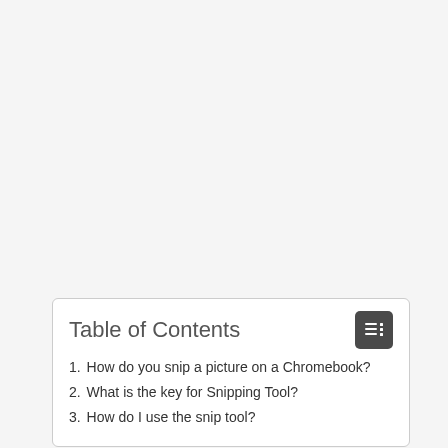Table of Contents
1. How do you snip a picture on a Chromebook?
2. What is the key for Snipping Tool?
3. How do I use the snip tool?